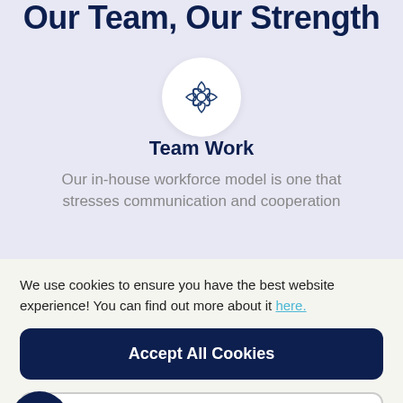Our Team, Our Strength
[Figure (illustration): Circle icon with four hands joined together forming a teamwork symbol]
Team Work
Our in-house workforce model is one that stresses communication and cooperation
We use cookies to ensure you have the best website experience! You can find out more about it here.
Accept All Cookies
See my options